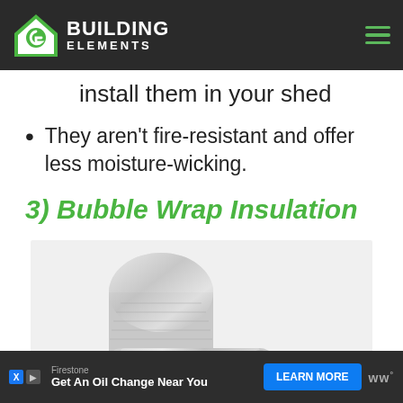BUILDING ELEMENTS
install them in your shed
They aren't fire-resistant and offer less moisture-wicking.
3) Bubble Wrap Insulation
[Figure (photo): Rolls of silver bubble wrap insulation material]
Firestone | Get An Oil Change Near You | LEARN MORE